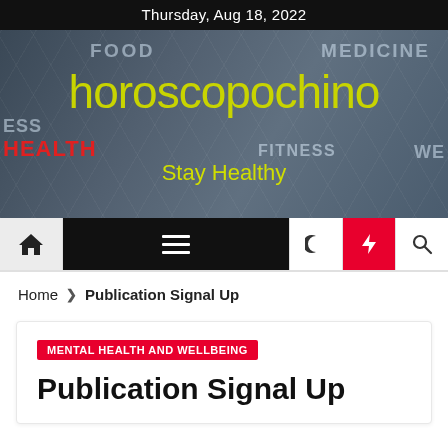Thursday, Aug 18, 2022
[Figure (screenshot): Horoscopochino website banner with health-related background image showing words FOOD, MEDICINE, FITNESS, HEALTH, WE. Yellow-green brand name 'horoscopochino' and tagline 'Stay Healthy'.]
[Figure (screenshot): Navigation bar with home icon, hamburger menu, moon icon, red lightning bolt icon, and search icon.]
Home > Publication Signal Up
MENTAL HEALTH AND WELLBEING
Publication Signal Up